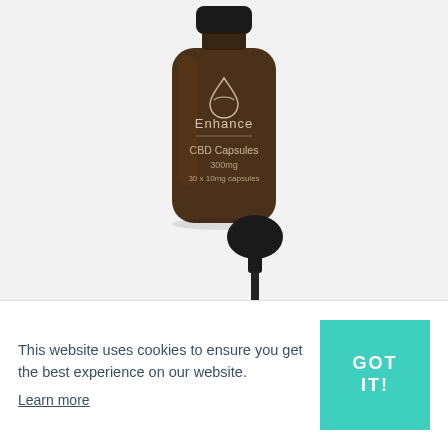[Figure (photo): Dark amber glass bottle labeled 'Enhance CBD Capsules 300mg 30 x 10mg capsules' with a black lid, on a light gray background]
[Figure (photo): Black glass dropper cap/pipette top, partially visible at bottom of product area]
This website uses cookies to ensure you get the best experience on our website.
Learn more
GOT IT!